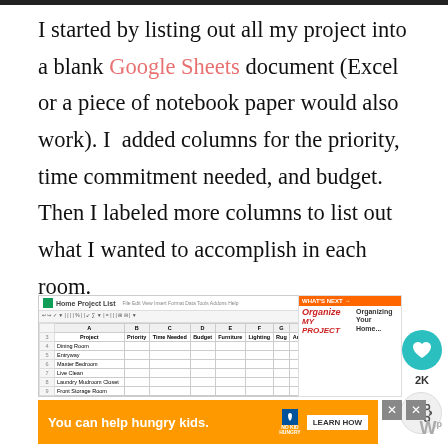I started by listing out all my project into a blank Google Sheets document (Excel or a piece of notebook paper would also work). I added columns for the priority, time commitment needed, and budget. Then I labeled more columns to list out what I wanted to accomplish in each room.
[Figure (screenshot): Screenshot of a Google Sheets spreadsheet titled 'Home Project List' with columns for Project, Priority, Time Needed, Budget, Furniture, Lighting, Rug, Art/Decor, Homework, and rows listing various home projects like Dining Room, Entryway, Master Bedroom, Live Clean, Laundry Mudroom Closer, Front Storage Room, 12 Bath Update, Hallway to Master, Kitchen.]
[Figure (screenshot): Ad banner: 'You can help hungry kids.' with No Kid Hungry logo and LEARN HOW button on orange background.]